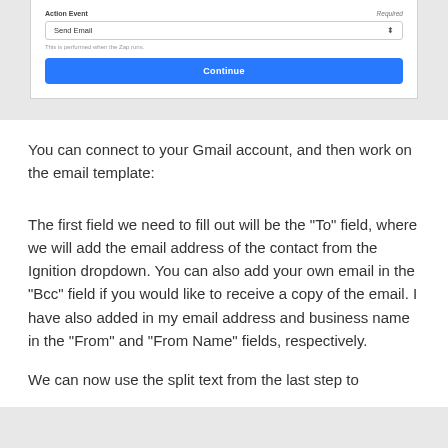[Figure (screenshot): Zapier action event configuration panel showing 'Action Event' label with 'Required' on the right, a dropdown showing 'Send Email', helper text 'This is performed when the Zap runs.', and a blue 'Continue' button.]
You can connect to your Gmail account, and then work on the email template:
The first field we need to fill out will be the "To" field, where we will add the email address of the contact from the Ignition dropdown. You can also add your own email in the "Bcc" field if you would like to receive a copy of the email. I have also added in my email address and business name in the "From" and "From Name" fields, respectively.
We can now use the split text from the last step to